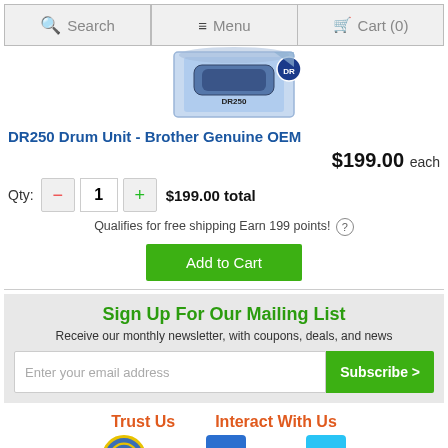Search  Menu  Cart (0)
[Figure (photo): Product image of DR250 Drum Unit box with blue packaging]
DR250 Drum Unit - Brother Genuine OEM
$199.00 each
Qty: 1  $199.00 total
Qualifies for free shipping Earn 199 points!
Add to Cart
Sign Up For Our Mailing List
Receive our monthly newsletter, with coupons, deals, and news
Enter your email address  Subscribe >
Trust Us
Interact With Us